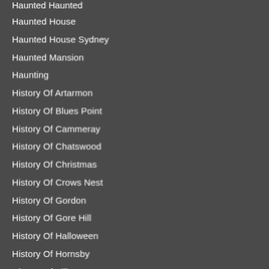Haunted Haunted
Haunted House
Haunted House Sydney
Haunted Mansion
Haunting
History Of Artarmon
History Of Blues Point
History Of Cammeray
History Of Chatswood
History Of Christmas
History Of Crows Nest
History Of Gordon
History Of Gore Hill
History Of Halloween
History Of Hornsby
History Of Killara
History Of Lane Cove
History Of Lavender Bay
History Of Lindfield
History Of Milsons Point
History Of North Sydney